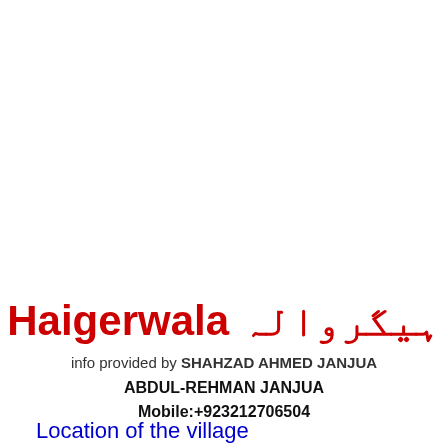Haigerwala ہیگروالہ
info provided by SHAHZAD AHMED JANJUA
ABDUL-REHMAN JANJUA
Mobile:+923212706504
Location of the village